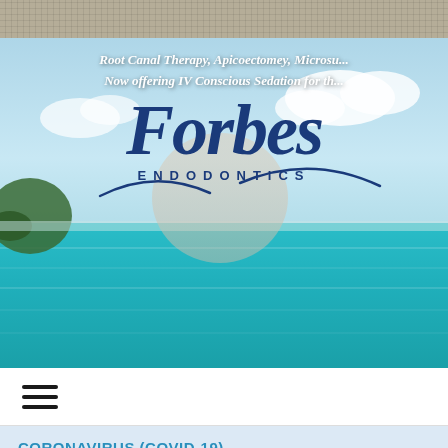[Figure (screenshot): Top decorative grid/plaid pattern bar in beige/tan color]
[Figure (photo): Hero banner with tropical ocean scene background showing turquoise water, cloudy sky, and a small island]
Root Canal Therapy, Apicoectomey, Microsu... Now offering IV Conscious Sedation for th...
[Figure (logo): Forbes Endodontics logo with large italic Forbes text in dark navy blue and ENDODONTICS in spaced capitals beneath, overlaid on a circular beige background]
[Figure (infographic): Navigation bar with hamburger menu icon (three horizontal lines)]
CORONAVIRUS (COVID-19)
To Our Patients...